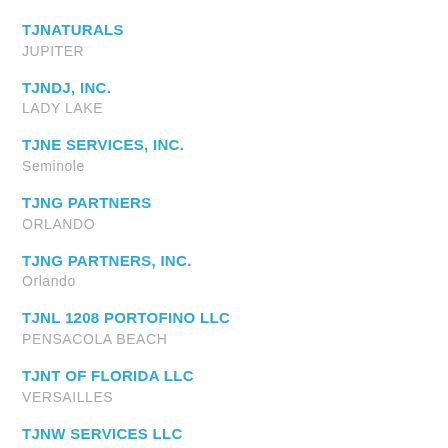TJNATURALS
JUPITER
TJNDJ, INC.
LADY LAKE
TJNE SERVICES, INC.
Seminole
TJNG PARTNERS
ORLANDO
TJNG PARTNERS, INC.
Orlando
TJNL 1208 PORTOFINO LLC
PENSACOLA BEACH
TJNT OF FLORIDA LLC
VERSAILLES
TJNW SERVICES LLC